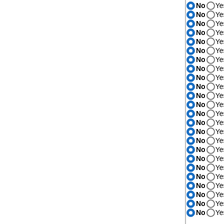No Yes Haliscomenobacter hydrossi
No Yes Niastella koreensis GR20-10
No Yes Chitinophaga pinensis DSM
No Yes Belliella baltica DSM 15883
No Yes Marivirga tractuosa DSM 412
No Yes Fibrella aestuarina
No Yes Dyadobacter fermentans DS
No Yes Cytophaga hutchinsonii ATC
No Yes Spirosoma linguale DSM 74
No Yes Runella slithyformis DSM 19
No Yes Paludibacter propionicigenes
No Yes Porphyromonas gingivalis AT
No Yes Bacteroides fragilis YCH46
No Yes Pedobacter saltans DSM 12
No Yes Solitalea canadensis DSM 3
No Yes Pedobacter heparinus DSM
No Yes Sphingobacterium sp. 21
No Yes Fluviicola taffensis DSM 168
No Yes Maribacter sp. HTCC2170
No Yes Polaribacter sp. MED152
No Yes Riemerella anatipestifer ATC
No Yes Flavobacterium indicum GPT
No Yes Planctomyces limnophilus D
No Yes Rhodopirellula baltica SH 1